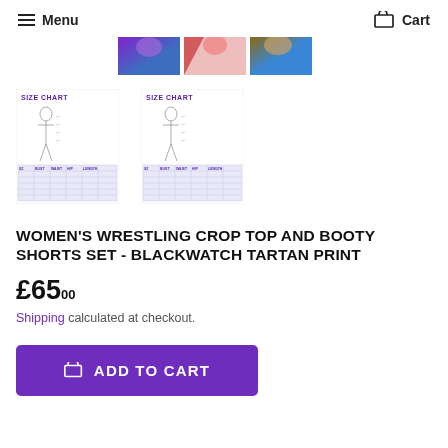Menu  Cart
[Figure (photo): Three partial product photo thumbnails showing tops in purple/blue, red/white, and brown/blue color schemes]
[Figure (table-as-image): Size chart thumbnail 1 showing body measurements diagram with SIZE CHART label in purple]
[Figure (table-as-image): Size chart thumbnail 2 showing body measurements diagram with SIZE CHART label in purple]
WOMEN'S WRESTLING CROP TOP AND BOOTY SHORTS SET - BLACKWATCH TARTAN PRINT
£65.00
Shipping calculated at checkout.
ADD TO CART